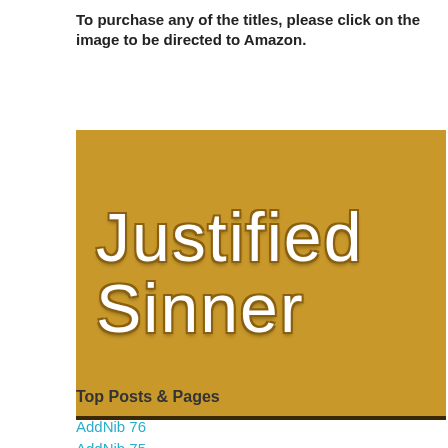To purchase any of the titles, please click on the image to be directed to Amazon.
[Figure (illustration): Book cover for 'Justified Sinner' — golden/amber background with large white outlined thin-font text reading 'Justified Sinner']
Top Posts & Pages
AddNib 76
AddNib 75